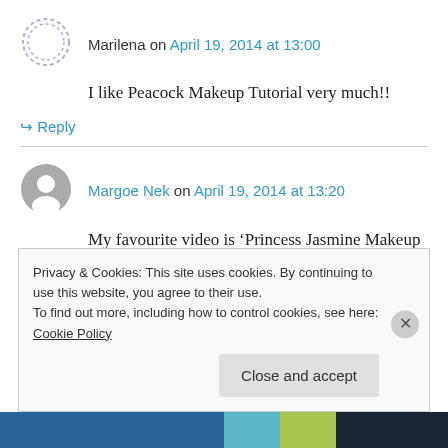Marilena on April 19, 2014 at 13:00
I like Peacock Makeup Tutorial very much!!
↳ Reply
Margoe Nek on April 19, 2014 at 13:20
My favourite video is 'Princess Jasmine Makeup Tutorial' 🙂
↳ Reply
Privacy & Cookies: This site uses cookies. By continuing to use this website, you agree to their use.
To find out more, including how to control cookies, see here: Cookie Policy
Close and accept